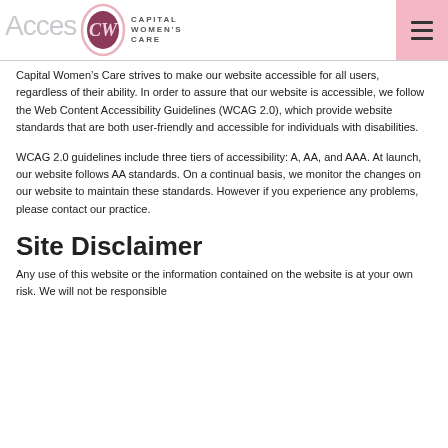Accessibility — Capital Women's Care
Capital Women’s Care strives to make our website accessible for all users, regardless of their ability. In order to assure that our website is accessible, we follow the Web Content Accessibility Guidelines (WCAG 2.0), which provide website standards that are both user-friendly and accessible for individuals with disabilities.
WCAG 2.0 guidelines include three tiers of accessibility: A, AA, and AAA. At launch, our website follows AA standards. On a continual basis, we monitor the changes on our website to maintain these standards. However if you experience any problems, please contact our practice.
Site Disclaimer
Any use of this website or the information contained on the website is at your own risk. We will not be responsible